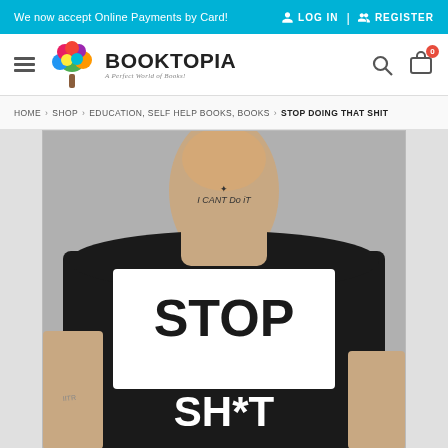We now accept Online Payments by Card! | LOG IN | REGISTER
[Figure (logo): Booktopia logo with colorful tree and text 'A Perfect World of Books!']
HOME › SHOP › EDUCATION, SELF HELP BOOKS, BOOKS › STOP DOING THAT SHIT
[Figure (photo): Person wearing a black t-shirt viewed from behind with text 'STOP DOING THAT SH*T' printed in large white letters. A tattoo on the neck reads 'I CANT Do iT'.]